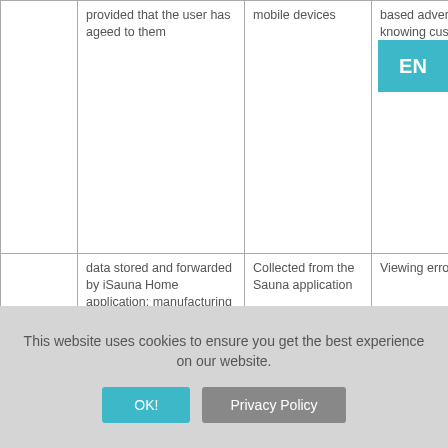|  |  |  |  |  |  |
| --- | --- | --- | --- | --- | --- |
|  | provided that the user has ageed to them | mobile devices | based advertising, knowing customer preferences | in Article 6 (1) a) of GDPR |  |
|  | data stored and forwarded by iSauna Home application: manufacturing number, IP, port, last sauna data | Collected from the Sauna application | Viewing errors |  |  |
Data marked with * are obligatory, usage is impossible without it, provision of these data is a prerequisite for concluding a contract.
This website uses cookies to ensure you get the best experience on our website.